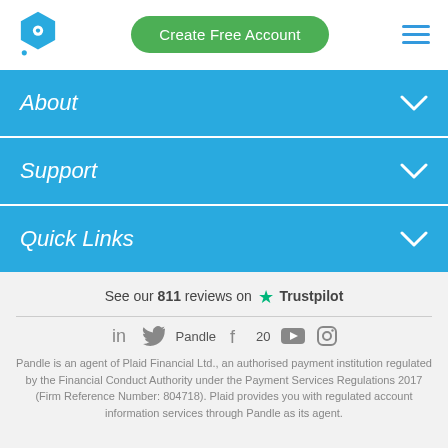[Figure (logo): Pandle hexagon logo in blue with white circle cutout]
Create Free Account
About
Support
Quick Links
See our 811 reviews on Trustpilot
in Pandle 2020 (social icons row)
Pandle is an agent of Plaid Financial Ltd., an authorised payment institution regulated by the Financial Conduct Authority under the Payment Services Regulations 2017 (Firm Reference Number: 804718). Plaid provides you with regulated account information services through Pandle as its agent.